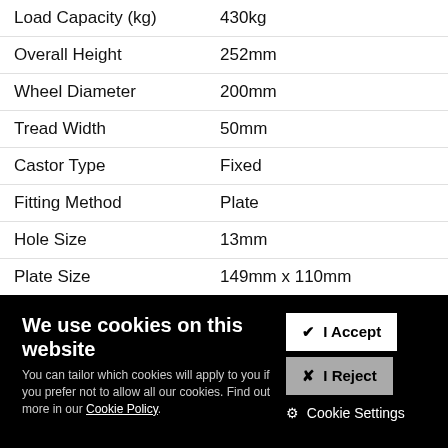| Property | Value |
| --- | --- |
| Load Capacity (kg) | 430kg |
| Overall Height | 252mm |
| Wheel Diameter | 200mm |
| Tread Width | 50mm |
| Castor Type | Fixed |
| Fitting Method | Plate |
| Hole Size | 13mm |
| Plate Size | 149mm x 110mm |
| Hole Centres | 105mm x 80mm |
| Bearing Type | Ball |
We use cookies on this website
You can tailor which cookies will apply to you if you prefer not to allow all our cookies. Find out more in our Cookie Policy.
✔ I Accept
✖ I Reject
✿ Cookie Settings